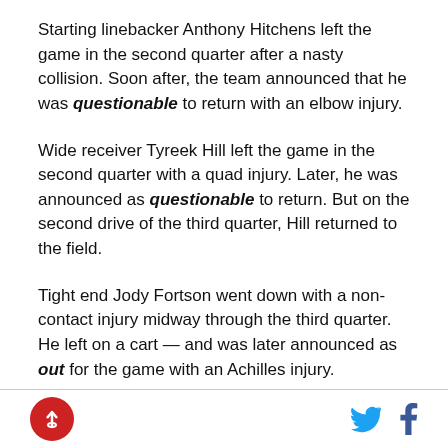Starting linebacker Anthony Hitchens left the game in the second quarter after a nasty collision. Soon after, the team announced that he was questionable to return with an elbow injury.
Wide receiver Tyreek Hill left the game in the second quarter with a quad injury. Later, he was announced as questionable to return. But on the second drive of the third quarter, Hill returned to the field.
Tight end Jody Fortson went down with a non-contact injury midway through the third quarter. He left on a cart — and was later announced as out for the game with an Achilles injury.
[Figure (logo): Rocket logo — red circle with white rocket/arrow icon]